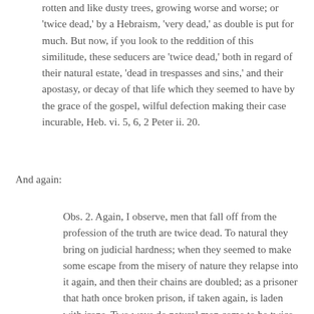rotten and like dusty trees, growing worse and worse; or 'twice dead,' by a Hebraism, 'very dead,' as double is put for much. But now, if you look to the reddition of this similitude, these seducers are 'twice dead,' both in regard of their natural estate, 'dead in trespasses and sins,' and their apostasy, or decay of that life which they seemed to have by the grace of the gospel, wilful defection making their case incurable, Heb. vi. 5, 6, 2 Peter ii. 20.
And again:
Obs. 2. Again, I observe, men that fall off from the profession of the truth are twice dead. To natural they bring on judicial hardness; when they seemed to make some escape from the misery of nature they relapse into it again, and then their chains are doubled; as a prisoner that hath once broken prison, if taken again, is laden with irons. Two ways do natural men come to be twice dead—by custom in sinning, and by a revolt from God after they had given their names to him. By